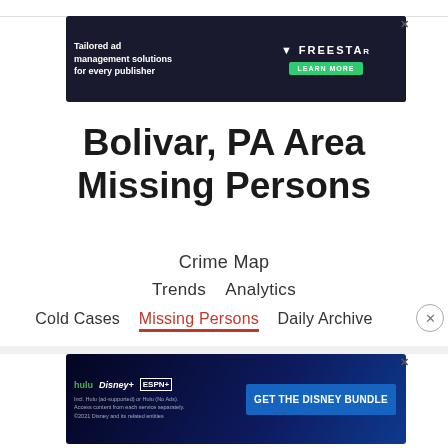[Figure (screenshot): Advertisement banner for Freestar: 'Tailored ad management solutions for every publisher' with LEARN MORE button on dark background]
Bolivar, PA Area Missing Persons
Crime Map
Trends   Analytics
Cold Cases   Missing Persons   Daily Archive
[Figure (screenshot): Advertisement banner for Disney Bundle: GET THE DISNEY BUNDLE with Hulu, Disney+, ESPN+ logos]